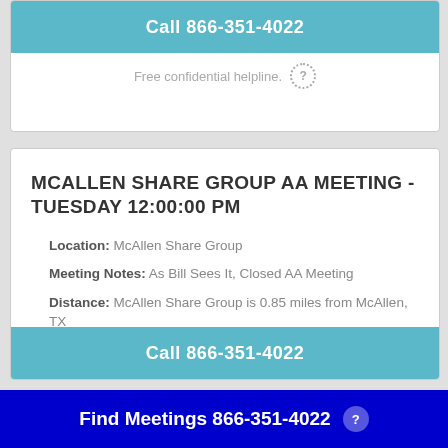Call 866-351-4022
Free confidential helpline.
MCALLEN SHARE GROUP AA MEETING - TUESDAY 12:00:00 PM
Location: McAllen Share Group
Meeting Notes: As Bill Sees It, Closed AA Meeting
Distance: McAllen Share Group is 0.85 miles from McAllen, TX
Call 866-351-4022
Find Meetings 866-351-4022